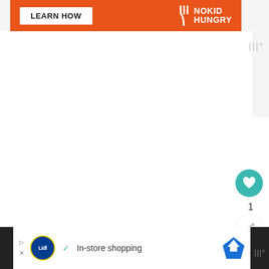[Figure (infographic): Orange No Kid Hungry banner ad with 'LEARN HOW' white button on left and No Kid Hungry fork logo and text on right]
[Figure (infographic): Watermark dots icon (III degree symbol) in gray top right]
1
[Figure (infographic): Teal circular heart (favorite) button]
[Figure (infographic): White circular share button with share icon]
[Figure (infographic): What's Next panel showing thumbnail image and 'WHAT'S NEXT → My Cookbook' text]
[Figure (infographic): Bottom white advertisement banner: Lidl logo, checkmark, 'In-store shopping', map/navigation diamond icon, and watermark III degree symbol on black bar right side]